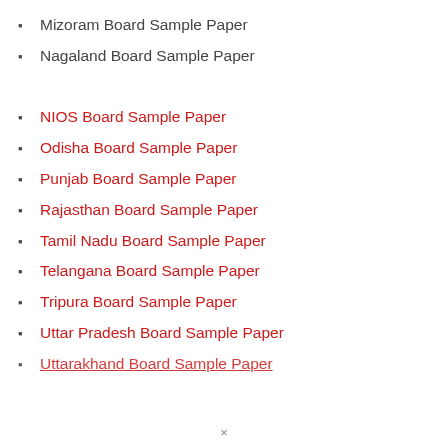Mizoram Board Sample Paper
Nagaland Board Sample Paper
NIOS Board Sample Paper
Odisha Board Sample Paper
Punjab Board Sample Paper
Rajasthan Board Sample Paper
Tamil Nadu Board Sample Paper
Telangana Board Sample Paper
Tripura Board Sample Paper
Uttar Pradesh Board Sample Paper
Uttarakhand Board Sample Paper
×